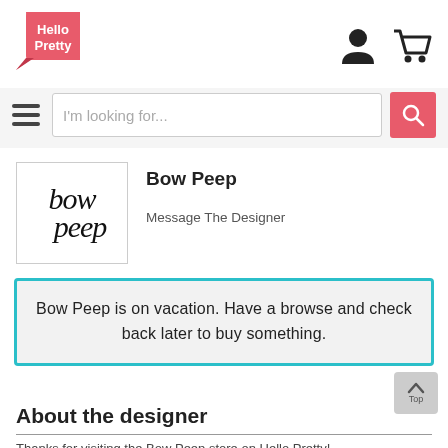[Figure (logo): Hello Pretty logo — pink speech bubble / banner with white text 'Hello Pretty']
[Figure (logo): User account icon and shopping cart icon in top right]
[Figure (screenshot): Hamburger menu icon (three horizontal lines)]
I'm looking for...
[Figure (logo): bow peep script logo in black on white]
Bow Peep
Message The Designer
Bow Peep is on vacation. Have a browse and check back later to buy something.
About the designer
Thanks for visiting the Bow Peep store on Hello Pretty!